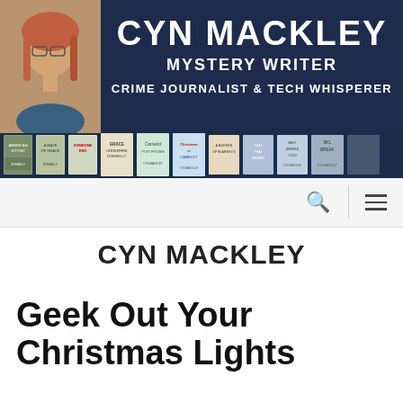[Figure (illustration): Website banner for Cyn Mackley showing author photo on the left with dark navy blue background. Text reads 'CYN MACKLEY / MYSTERY WRITER / CRIME JOURNALIST & TECH WHISPERER'. A row of book covers is displayed along the bottom of the banner.]
CYN MACKLEY
Geek Out Your Christmas Lights